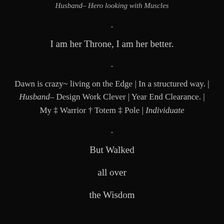Husband– Hero looking with Muscles
.
I am her Throne, I am her better.
.
Dawn is crazy~ living on the Edge | In a structured way. | Husband– Design Work Clever | Year End Clearance. | My ‡ Warrior † Totem ‡ Pole | Individuate
.
But Walked

all over

the Wisdom